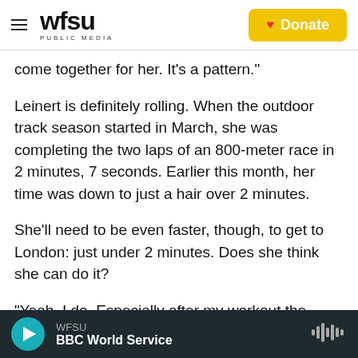WFSU PUBLIC MEDIA | Donate
come together for her. It's a pattern."
Leinert is definitely rolling. When the outdoor track season started in March, she was completing the two laps of an 800-meter race in 2 minutes, 7 seconds. Earlier this month, her time was down to just a hair over 2 minutes.
She'll need to be even faster, though, to get to London: just under 2 minutes. Does she think she can do it?
"Yeah, I do. Especially after my workout the other
WFSU
BBC World Service